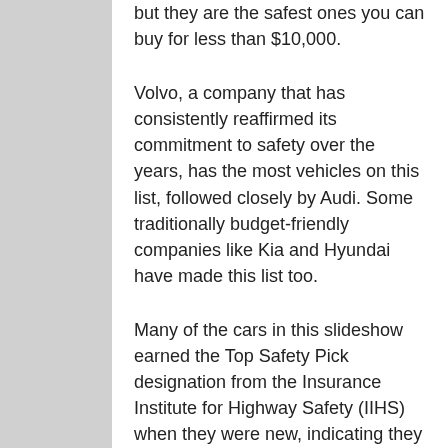but they are the safest ones you can buy for less than $10,000.
Volvo, a company that has consistently reaffirmed its commitment to safety over the years, has the most vehicles on this list, followed closely by Audi. Some traditionally budget-friendly companies like Kia and Hyundai have made this list too.
Many of the cars in this slideshow earned the Top Safety Pick designation from the Insurance Institute for Highway Safety (IIHS) when they were new, indicating they got the top score, “Good,” in all tests. However, not all were tested by the organization. Most of the cars on this list were not rated by the National Highway Traffic Safety Administration (NHTSA), which awards five stars to the safest vehicles in their testing.